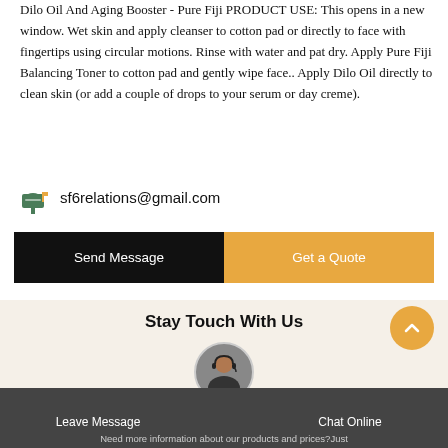Dilo Oil And Aging Booster - Pure Fiji PRODUCT USE: This opens in a new window. Wet skin and apply cleanser to cotton pad or directly to face with fingertips using circular motions. Rinse with water and pat dry. Apply Pure Fiji Balancing Toner to cotton pad and gently wipe face.. Apply Dilo Oil directly to clean skin (or add a couple of drops to your serum or day creme).
sf6relations@gmail.com
Send Message
Get a Quote
Stay Touch With Us
Leave Message   Chat Online   Need more information about our products and prices?Just